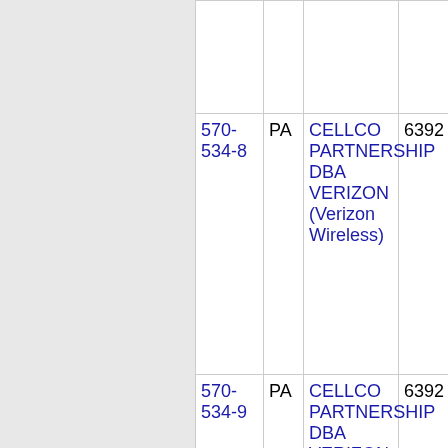| Number | State | Company | Code |
| --- | --- | --- | --- |
| 570-534-8 | PA | CELLCO PARTNERSHIP DBA VERIZON (Verizon Wireless) | 6392 |
| 570-534-9 | PA | CELLCO PARTNERSHIP DBA VERIZON (Verizon Wireless) | 6392 |